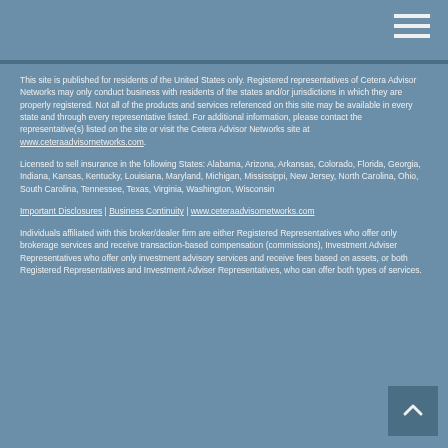This site is published for residents of the United States only. Registered representatives of Cetera Advisor Networks may only conduct business with residents of the states and/or jurisdictions in which they are properly registered. Not all of the products and services referenced on this site may be available in every state and through every representative listed. For additional information, please contact the representative(s) listed on the site or visit the Cetera Advisor Networks site at www.ceteraadvisornetworks.com.
Licensed to sell insurance in the following States: Alabama, Arizona, Arkansas, Colorado, Florida, Georgia, Indiana, Kansas, Kentucky, Louisiana, Maryland, Michigan, Mississippi, New Jersey, North Carolina, Ohio, South Carolina, Tennessee, Texas, Virginia, Washington, Wisconsin
Important Disclosures | Business Continuity | www.ceteraadvisornetworks.com
Individuals affiliated with this broker/dealer firm are either Registered Representatives who offer only brokerage services and receive transaction-based compensation (commissions), Investment Adviser Representatives who offer only investment advisory services and receive fees based on assets, or both Registered Representatives and Investment Adviser Representatives, who can offer both types of services.